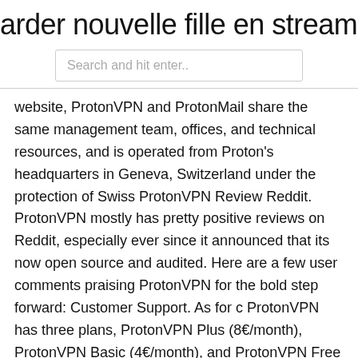arder nouvelle fille en streaming en l
Search and hit enter..
website, ProtonVPN and ProtonMail share the same management team, offices, and technical resources, and is operated from Proton's headquarters in Geneva, Switzerland under the protection of Swiss ProtonVPN Review Reddit. ProtonVPN mostly has pretty positive reviews on Reddit, especially ever since it announced that its now open source and audited. Here are a few user comments praising ProtonVPN for the bold step forward: Customer Support. As for c ProtonVPN has three plans, ProtonVPN Plus (8€/month), ProtonVPN Basic (4€/month), and ProtonVPN Free (0€/month). All beta testers currently have ProtonVPN Plus. ProtonMail Visionary users will retain access to ProtonVPN Plus for free. ProtonVPN Plans and Pricing One Reddit user has detailed a workaround that may or may not do the trick for you, but ProtonVPN is far from dependable. If you need a VPN for use in the country, our guide to the best China VPN services is a good place to start. Therefore, ProtonVPN is an excellent choice as a free VPN that has the approval of Reddit